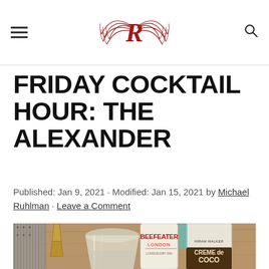Ruhlman (logo)
FRIDAY COCKTAIL HOUR: THE ALEXANDER
Published: Jan 9, 2021 · Modified: Jan 15, 2021 by Michael Ruhlman · Leave a Comment
[Figure (photo): Photo of cocktail ingredients on a wooden surface: a Beefeater London gin bottle, a Hiram Walker Crème de Cacao bottle, a jigger/measuring cup, a mixing glass, and a grater in the background.]